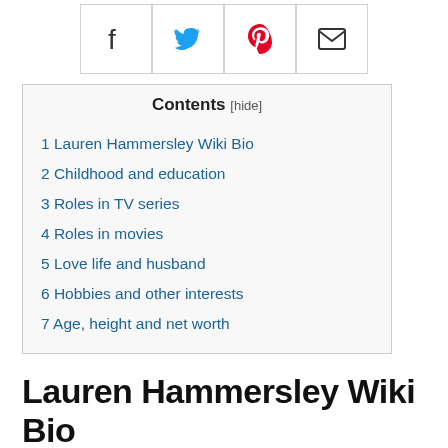[Figure (other): Social share bar with Facebook, Twitter, Pinterest, and email icon buttons in bordered cells]
| 1 Lauren Hammersley Wiki Bio |
| 2 Childhood and education |
| 3 Roles in TV series |
| 4 Roles in movies |
| 5 Love life and husband |
| 6 Hobbies and other interests |
| 7 Age, height and net worth |
Lauren Hammersley Wiki Bio